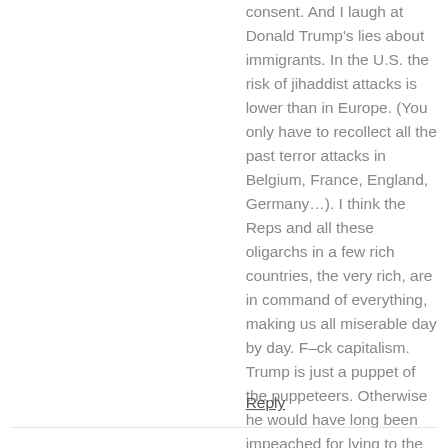consent. And I laugh at Donald Trump's lies about immigrants. In the U.S. the risk of jihaddist attacks is lower than in Europe. (You only have to recollect all the past terror attacks in Belgium, France, England, Germany...). I think the Reps and all these oligarchs in a few rich countries, the very rich, are in command of everything, making us all miserable day by day. F–ck capitalism. Trump is just a puppet of the puppeteers. Otherwise he would have long been impeached for lying to the American people obstructing justice. And I so care about this because it affects us all human beings on earth. In this sense, yes, you grasped a huge issue on your blog, the elephant's tail, but well done!
Reply
kmabarrett says:
August 22, 2017 at 10:31 am
Hi Wayfarer,